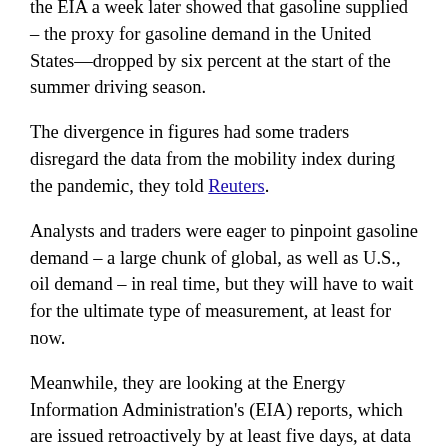the EIA a week later showed that gasoline supplied – the proxy for gasoline demand in the United States—dropped by six percent at the start of the summer driving season.
The divergence in figures had some traders disregard the data from the mobility index during the pandemic, they told Reuters.
Analysts and traders were eager to pinpoint gasoline demand – a large chunk of global, as well as U.S., oil demand – in real time, but they will have to wait for the ultimate type of measurement, at least for now.
Meanwhile, they are looking at the Energy Information Administration's (EIA) reports, which are issued retroactively by at least five days, at data from TomTom about traffic in cities worldwide, at the Mobility and Engagement Index of the Dallas Fed measuring the deviation from normal mobility behaviors induced by COVID-19, and at various subscription services